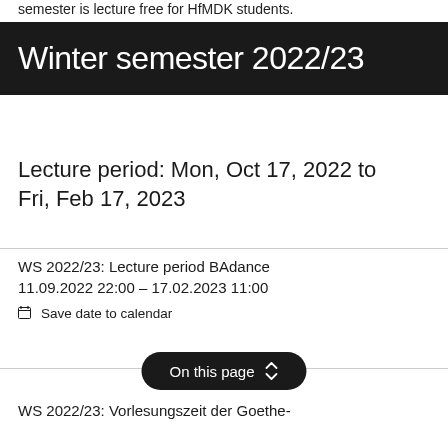semester is lecture free for HfMDK students.
Winter semester 2022/23
Lecture period: Mon, Oct 17, 2022 to Fri, Feb 17, 2023
WS 2022/23: Lecture period BAdance 11.09.2022 22:00 – 17.02.2023 11:00
🗓 Save date to calendar
On this page ↕
WS 2022/23: Vorlesungszeit der Goethe-